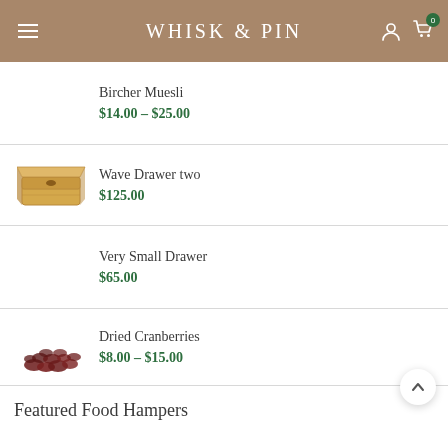WHISK & PIN
Bircher Muesli $14.00 – $25.00
Wave Drawer two $125.00
Very Small Drawer $65.00
Dried Cranberries $8.00 – $15.00
Featured Food Hampers